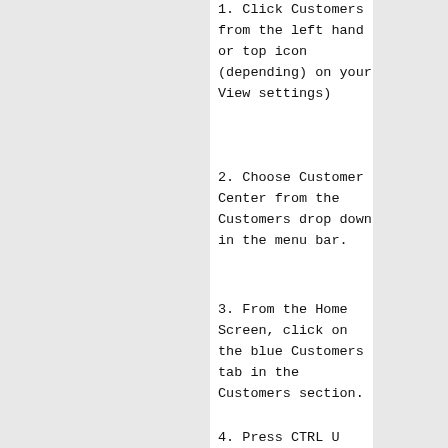1. Click Customers from the left hand or top icon (depending) on your View settings)
2. Choose Customer Center from the Customers drop down in the menu bar.
3. From the Home Screen, click on the blue Customers tab in the Customers section.
4. Press CTRL U